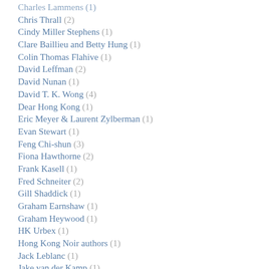Charles Lammens (1)
Chris Thrall (2)
Cindy Miller Stephens (1)
Clare Baillieu and Betty Hung (1)
Colin Thomas Flahive (1)
David Leffman (2)
David Nunan (1)
David T. K. Wong (4)
Dear Hong Kong (1)
Eric Meyer & Laurent Zylberman (1)
Evan Stewart (1)
Feng Chi-shun (3)
Fiona Hawthorne (2)
Frank Kasell (1)
Fred Schneiter (2)
Gill Shaddick (1)
Graham Earnshaw (1)
Graham Heywood (1)
HK Urbex (1)
Hong Kong Noir authors (1)
Jack Leblanc (1)
Jake van der Kamp (1)
Jason Y. Ng (2)